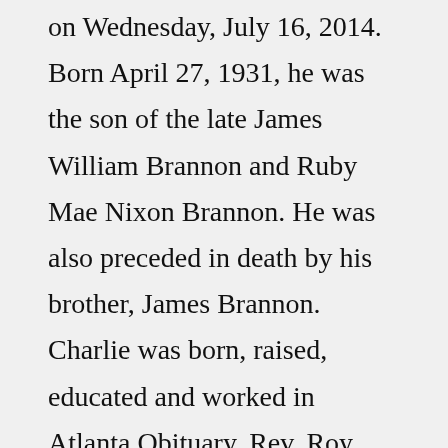on Wednesday, July 16, 2014. Born April 27, 1931, he was the son of the late James William Brannon and Ruby Mae Nixon Brannon. He was also preceded in death by his brother, James Brannon. Charlie was born, raised, educated and worked in Atlanta.Obituary. Rev. Roy Lee Miller, Jr. (90) died peacefully at home surrounded by family on Tuesday, June 28, 2022. Born on February 5, 1932, in Knoxville, Tennessee, he served a life of Christian ministry for